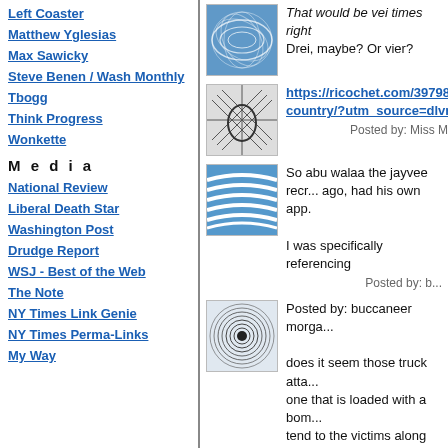Left Coaster
Matthew Yglesias
Max Sawicky
Steve Benen / Wash Monthly
Tbogg
Think Progress
Wonkette
M e d i a
National Review
Liberal Death Star
Washington Post
Drudge Report
WSJ - Best of the Web
The Note
NY Times Link Genie
NY Times Perma-Links
My Way
That would be vei times right
Drei, maybe? Or vier?
https://ricochet.com/397988...
country/?utm_source=dlvr.
Posted by: Miss Mar...
So abu walaa the jayvee recr...
ago, had his own app.
I was specifically referencing
Posted by: b...
Posted by: buccaneer morga...
does it seem those truck atta...
one that is loaded with a bom...
tend to the victims along the r...
diversity is strength.